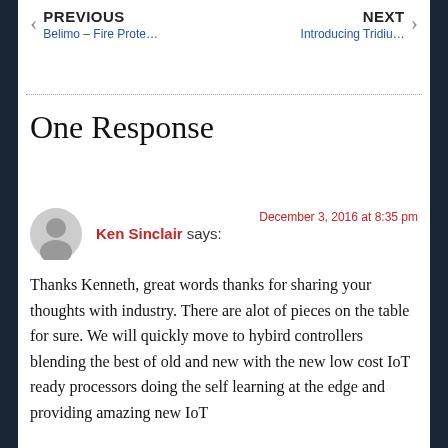PREVIOUS | Belimo – Fire Prote... | Introducing Tridiu... | NEXT
One Response
Ken Sinclair says: December 3, 2016 at 8:35 pm
Thanks Kenneth, great words thanks for sharing your thoughts with industry. There are alot of pieces on the table for sure. We will quickly move to hybird controllers blending the best of old and new with the new low cost IoT ready processors doing the self learning at the edge and providing amazing new IoT